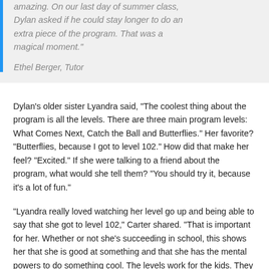amazing. On our last day of summer class, Dylan asked if he could stay longer to do an extra piece of the program. That was a magical moment."

Ethel Berger, Tutor
Dylan's older sister Lyandra said, "The coolest thing about the program is all the levels. There are three main program levels: What Comes Next, Catch the Ball and Butterflies." Her favorite? "Butterflies, because I got to level 102." How did that make her feel? "Excited." If she were talking to a friend about the program, what would she tell them? "You should try it, because it's a lot of fun."
"Lyandra really loved watching her level go up and being able to say that she got to level 102," Carter shared. "That is important for her. Whether or not she's succeeding in school, this shows her that she is good at something and that she has the mental powers to do something cool. The levels work for the kids. They like being able to track their